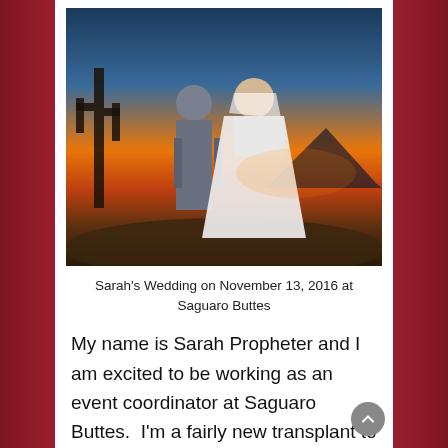[Figure (photo): Wedding photo of Sarah and her groom standing together outdoors at sunset with saguaro cactus in the background. The groom wears a gray suit with bow tie and the bride wears a white strapless ball gown.]
Sarah's Wedding on November 13, 2016 at Saguaro Buttes
My name is Sarah Propheter and I am excited to be working as an event coordinator at Saguaro Buttes.  I'm a fairly new transplant to Tucson from